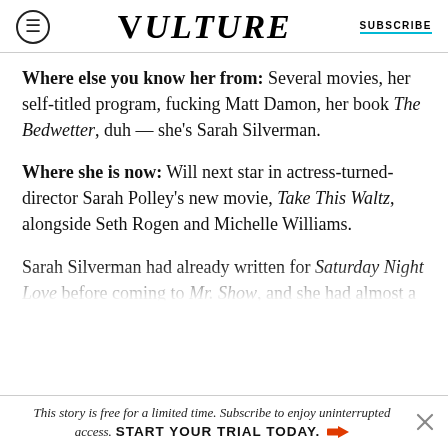VULTURE | SUBSCRIBE
Where else you know her from: Several movies, her self-titled program, fucking Matt Damon, her book The Bedwetter, duh — she's Sarah Silverman.
Where she is now: Will next star in actress-turned-director Sarah Polley's new movie, Take This Waltz, alongside Seth Rogen and Michelle Williams.
Sarah Silverman had already written for Saturday Night Love before coming to Mr. Show, and she had almost a decade of stand-up under her belt, even
This story is free for a limited time. Subscribe to enjoy uninterrupted access. START YOUR TRIAL TODAY.